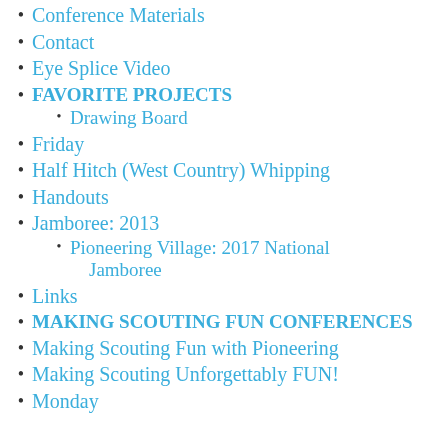Conference Materials
Contact
Eye Splice Video
FAVORITE PROJECTS
Drawing Board
Friday
Half Hitch (West Country) Whipping
Handouts
Jamboree: 2013
Pioneering Village: 2017 National Jamboree
Links
MAKING SCOUTING FUN CONFERENCES
Making Scouting Fun with Pioneering
Making Scouting Unforgettably FUN!
Monday